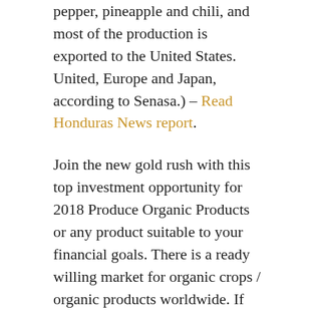pepper, pineapple and chili, and most of the production is exported to the United States. United, Europe and Japan, according to Senasa.) – Read Honduras News report.
Join the new gold rush with this top investment opportunity for 2018 Produce Organic Products or any product suitable to your financial goals. There is a ready willing market for organic crops / organic products worldwide. If this is something you or your company is contemplating do not pass up this Top investment opportunity for 2018 Real Estate prices will increase significantly once the New Palmerola International Airport is completed. DO NOT WAIT!
Honduras Real Estate for sale 34.7 Acres located close to new Palmerola International Airport